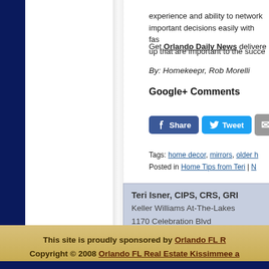experience and ability to network ... important decisions easily with fas... up that are important to the succe...
Get Orlando Daily News delivered...
By: Homekeepr, Rob Morelli
Google+ Comments
[Figure (other): Social sharing buttons: Facebook Share, Twitter Tweet, Email]
Tags: home decor, mirrors, older h...
Posted in Home Tips from Teri | N...
Teri Isner, CIPS, CRS, GRI
Keller Williams At-The-Lakes
1170 Celebration Blvd
Suite 200
Celebration, Fl 34747
This site is proudly sponsored by Orlando FL R...
Copyright © 2008 Orlando FL Real Estate Kissimmee a...